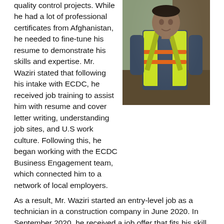quality control projects. While he had a lot of professional certificates from Afghanistan, he needed to fine-tune his resume to demonstrate his skills and expertise. Mr. Waziri stated that following his intake with ECDC, he received job training to assist him with resume and cover letter writing, understanding job sites, and U.S work culture. Following this, he began working with the ECDC Business Engagement team, which connected him to a network of local employers.
[Figure (photo): A man wearing a bright yellow-green safety vest with orange reflective stripes, standing outdoors on a construction or landscaping site.]
As a result, Mr. Waziri started an entry-level job as a technician in a construction company in June 2020. In September 2020, he received a job offer that fits his skill level, working as a quality control manager in Maryland – the same position he held in Afghanistan. Mr. Waziri states that he loves this new job.
"I had a lot of experience in Afghanistan, but not a lot of experience in the U.S.," Mr. Waziri stated. "If I were speaking to someone newly coming, I'd tell them to make sure they have their certifications but be prepared to start in an entry-level position and work their way up." Mr. Waziri noted that this could be very